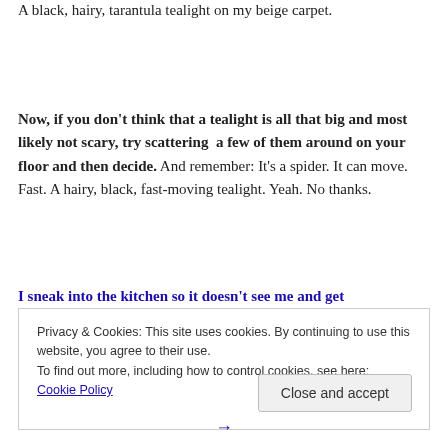A black, hairy, tarantula tealight on my beige carpet.
Now, if you don't think that a tealight is all that big and most likely not scary, try scattering a few of them around on your floor and then decide. And remember: It's a spider. It can move. Fast. A hairy, black, fast-moving tealight. Yeah. No thanks.
I sneak into the kitchen so it doesn't see me and get
Privacy & Cookies: This site uses cookies. By continuing to use this website, you agree to their use.
To find out more, including how to control cookies, see here: Cookie Policy
Close and accept